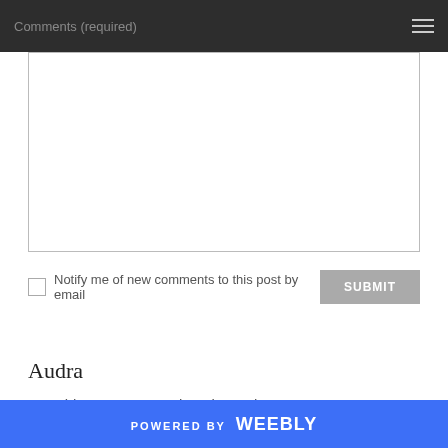Comments (required)
[Figure (screenshot): Empty white comment textarea input box with a thin border]
Notify me of new comments to this post by email
SUBMIT
Audra
Most blog posts are written by Audra
POWERED BY weebly